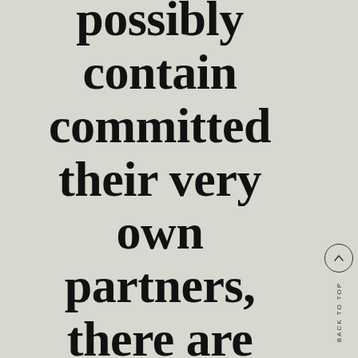possibly contain committed their very own partners, there are
BACK TO TOP